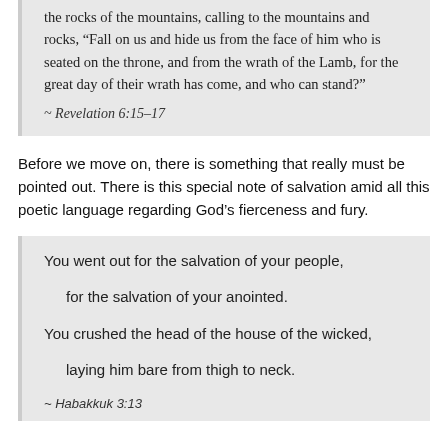the rocks of the mountains, calling to the mountains and rocks, “Fall on us and hide us from the face of him who is seated on the throne, and from the wrath of the Lamb, for the great day of their wrath has come, and who can stand?”
~ Revelation 6:15–17
Before we move on, there is something that really must be pointed out. There is this special note of salvation amid all this poetic language regarding God’s fierceness and fury.
You went out for the salvation of your people,

    for the salvation of your anointed.

You crushed the head of the house of the wicked,

    laying him bare from thigh to neck.
~ Habakkuk 3:13